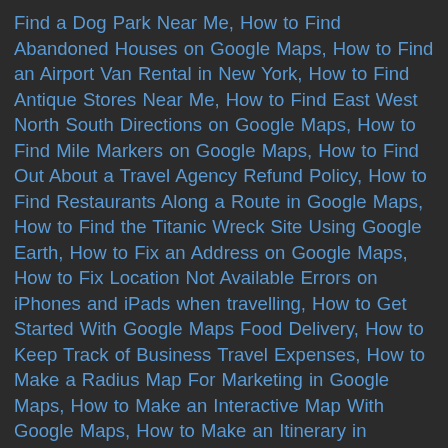Find a Dog Park Near Me, How to Find Abandoned Houses on Google Maps, How to Find an Airport Van Rental in New York, How to Find Antique Stores Near Me, How to Find East West North South Directions on Google Maps, How to Find Mile Markers on Google Maps, How to Find Out About a Travel Agency Refund Policy, How to Find Restaurants Along a Route in Google Maps, How to Find the Titanic Wreck Site Using Google Earth, How to Fix an Address on Google Maps, How to Fix Location Not Available Errors on iPhones and iPads when travelling, How to Get Started With Google Maps Food Delivery, How to Keep Track of Business Travel Expenses, How to Make a Radius Map For Marketing in Google Maps, How to Make an Interactive Map With Google Maps, How to Make an Itinerary in Citymapper, How to Make Google Maps Default on iPhone, How to Make the Most of Google Maps for Restaurants, How to Mark a Location on Apple Maps, How to Measure Distance on Bing Maps, How to Mute Apple Maps Voice Guidance, How to Obtain a Bing Maps API Key and Use it With Dynamics Business Central, How to Organise Citymapper Saved Searches, How to Pack a Suitcase for a Business Trip, How to Remove Business Name From Google Maps, How to Remove Restaurants From Google Maps, How to Remove the Wikitude Free Trial Watermark, How to Request a Megabus Refund, How to Rotate Google